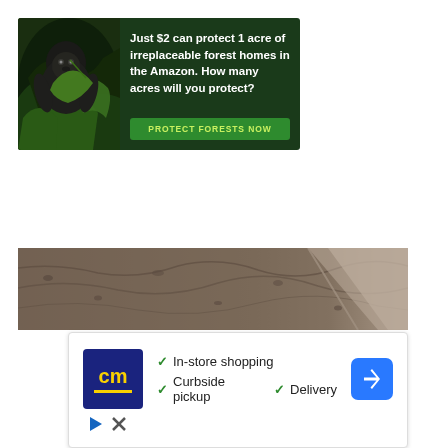[Figure (infographic): Advertisement banner with dark jungle background showing a gorilla, with text 'Just $2 can protect 1 acre of irreplaceable forest homes in the Amazon. How many acres will you protect?' and a green button 'PROTECT FORESTS NOW']
[Figure (photo): Dirt/soil texture photograph showing brown earth with a diagonal edge]
[Figure (infographic): CM (Concrete Materials) advertisement card showing logo, checkmarks for In-store shopping, Curbside pickup, Delivery, and a blue navigation arrow icon]